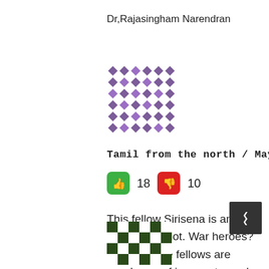Dr,Rajasingham Narendran
[Figure (illustration): Purple geometric/pixel avatar pattern for user Tamil from the north]
Tamil from the north / May 19, 2016
👍 18  👎 10
This fellow Sirisena is an ineffective idiot. War heroes? A lot of these fellows are murderers of innocent people and rapists of innocent women. Bugger is talking poppycock.
[Figure (illustration): Dark green geometric/pixel avatar pattern for next commenter]